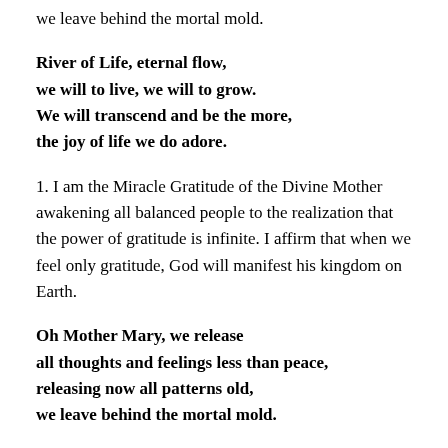we leave behind the mortal mold.
River of Life, eternal flow,
we will to live, we will to grow.
We will transcend and be the more,
the joy of life we do adore.
1. I am the Miracle Gratitude of the Divine Mother awakening all balanced people to the realization that the power of gratitude is infinite. I affirm that when we feel only gratitude, God will manifest his kingdom on Earth.
Oh Mother Mary, we release
all thoughts and feelings less than peace,
releasing now all patterns old,
we leave behind the mortal mold.
River of Life, eternal flow,